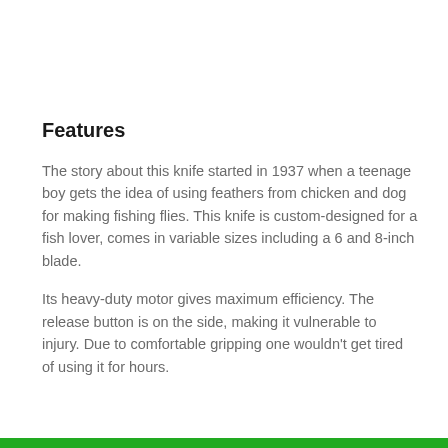Features
The story about this knife started in 1937 when a teenage boy gets the idea of using feathers from chicken and dog for making fishing flies. This knife is custom-designed for a fish lover, comes in variable sizes including a 6 and 8-inch blade.
Its heavy-duty motor gives maximum efficiency. The release button is on the side, making it vulnerable to injury. Due to comfortable gripping one wouldn't get tired of using it for hours.